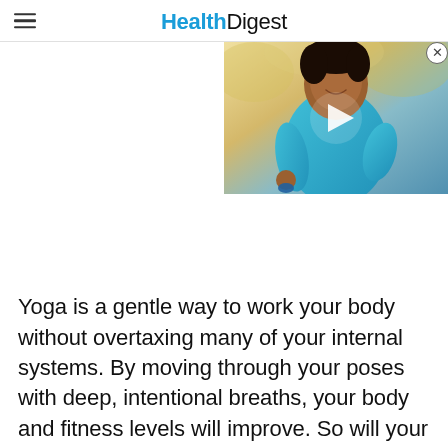HealthDigest
[Figure (screenshot): Video thumbnail showing a smiling woman in a teal/turquoise top holding dumbbells outdoors, with a play button overlay. A close (X) button appears in the top-right corner of the video overlay.]
Yoga is a gentle way to work your body without overtaxing many of your internal systems. By moving through your poses with deep, intentional breaths, your body and fitness levels will improve. So will your